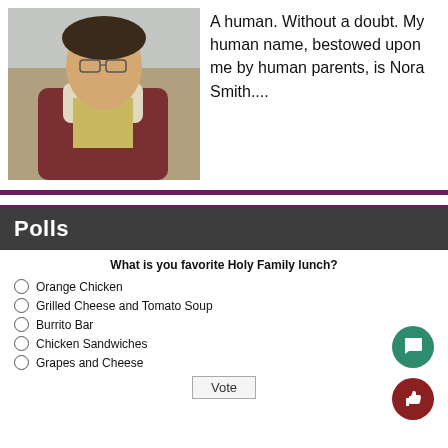[Figure (photo): Photo of a young person wearing glasses, a yellow polo shirt and a maroon jacket with sherpa lining, sitting in what appears to be a classroom or bus setting]
A human. Without a doubt. My human name, bestowed upon me by human parents, is Nora Smith....
Polls
What is you favorite Holy Family lunch?
Orange Chicken
Grilled Cheese and Tomato Soup
Burrito Bar
Chicken Sandwiches
Grapes and Cheese
Vote